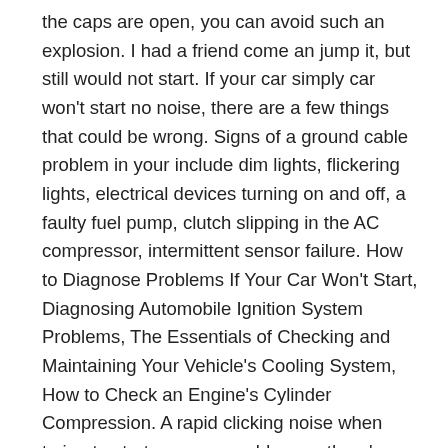the caps are open, you can avoid such an explosion. I had a friend come an jump it, but still would not start. If your car simply car won't start no noise, there are a few things that could be wrong. Signs of a ground cable problem in your include dim lights, flickering lights, electrical devices turning on and off, a faulty fuel pump, clutch slipping in the AC compressor, intermittent sensor failure. How to Diagnose Problems If Your Car Won't Start, Diagnosing Automobile Ignition System Problems, The Essentials of Checking and Maintaining Your Vehicle's Cooling System, How to Check an Engine's Cylinder Compression. A rapid clicking noise when trying to start your car could mean there's something wrong within the electrical system. If the ground cable between the body and the engine is bad, the power flow will be cut off and restricted. Archived. No noise would indicate an electrical or starter problem. Another probable reason for why your car won't start and is making a fast click noise is a locked up or